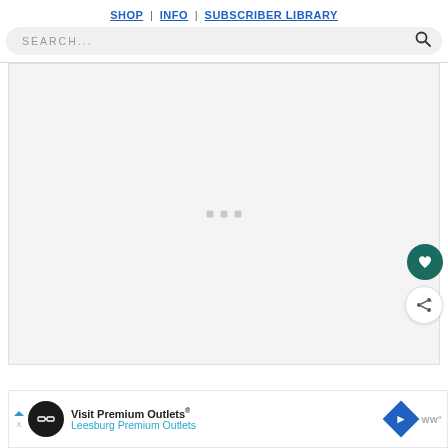SHOP | INFO | SUBSCRIBER LIBRARY
[Figure (screenshot): Search bar with placeholder text SEARCH... and magnifying glass icon on gray background]
[Figure (screenshot): Large gray loading content area with three small square loading dots in the center, heart (like) FAB button and share FAB button on right side]
[Figure (screenshot): Ad banner at bottom: Visit Premium Outlets® Leesburg Premium Outlets with logo and navigation icon]